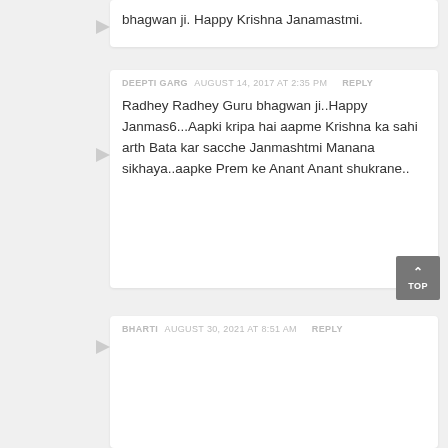bhagwan ji. Happy Krishna Janamastmi.
DEEPTI GARG  AUGUST 14, 2017 AT 2:35 PM  REPLY
Radhey Radhey Guru bhagwan ji..Happy Janmas6...Aapki kripa hai aapme Krishna ka sahi arth Bata kar sacche Janmashtmi Manana sikhaya..aapke Prem ke Anant Anant shukrane..
BHARTI  AUGUST 30, 2021 AT 8:51 AM  REPLY